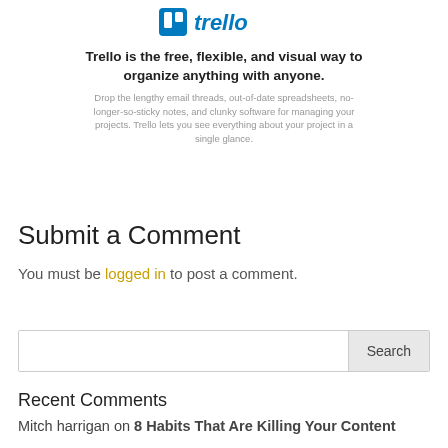[Figure (logo): Trello logo with blue icon and blue stylized 'trello' wordmark]
Trello is the free, flexible, and visual way to organize anything with anyone.
Drop the lengthy email threads, out-of-date spreadsheets, no-longer-so-sticky notes, and clunky software for managing your projects. Trello lets you see everything about your project in a single glance.
Submit a Comment
You must be logged in to post a comment.
Search
Recent Comments
Mitch harrigan on 8 Habits That Are Killing Your Content